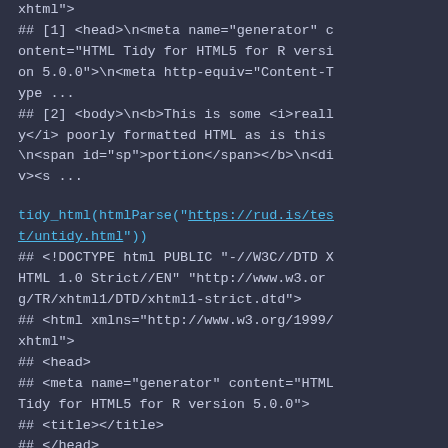xhtml">
## [1] <head>\n<meta name="generator" content="HTML Tidy for HTML5 for R version 5.0.0">\n<meta http-equiv="Content-Type ...
## [2] <body>\n<b>This is some <i>really</i> poorly formatted HTML as is this \n<span id="sp">portion</span></b>\n<div><s ...

tidy_html(htmlParse("https://rud.is/test/untidy.html"))
## <!DOCTYPE html PUBLIC "-//W3C//DTD XHTML 1.0 Strict//EN" "http://www.w3.org/TR/xhtml1/DTD/xhtml1-strict.dtd">
## <html xmlns="http://www.w3.org/1999/xhtml">
## <head>
## <meta name="generator" content="HTML Tidy for HTML5 for R version 5.0.0">
## <title></title>
## </head>
## <body>